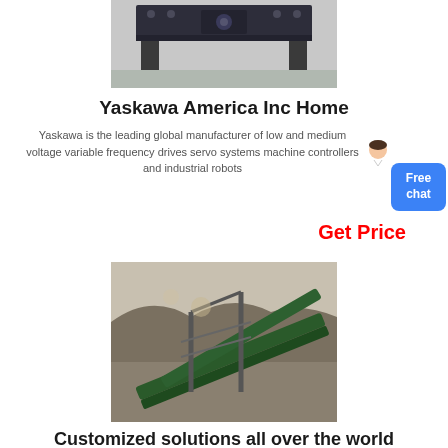[Figure (photo): Industrial crushing/processing machine in a warehouse, heavy dark metal equipment]
Yaskawa America Inc Home
Yaskawa is the leading global manufacturer of low and medium voltage variable frequency drives servo systems machine controllers and industrial robots
Get Price
[Figure (photo): Aerial view of conveyor belt system in an open-pit mining or quarry operation, green metal structure]
Customized solutions all over the world